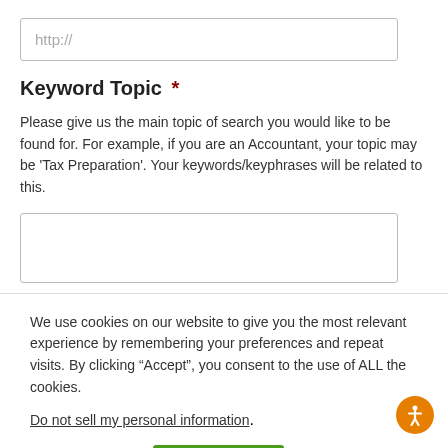http://
Keyword Topic *
Please give us the main topic of search you would like to be found for. For example, if you are an Accountant, your topic may be 'Tax Preparation'. Your keywords/keyphrases will be related to this.
We use cookies on our website to give you the most relevant experience by remembering your preferences and repeat visits. By clicking “Accept”, you consent to the use of ALL the cookies.
Do not sell my personal information.
Cookie settings
ACCEPT